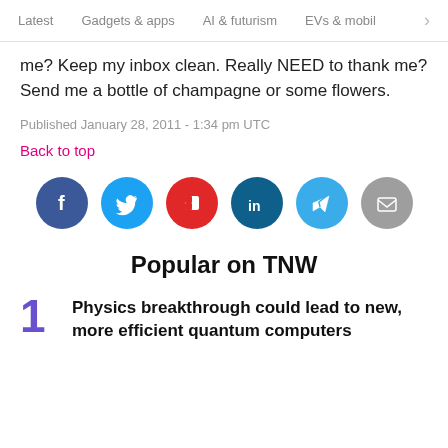Latest   Gadgets & apps   AI & futurism   EVs & mobil  >
me? Keep my inbox clean. Really NEED to thank me? Send me a bottle of champagne or some flowers.
Published January 28, 2011 - 1:34 pm UTC
Back to top
[Figure (infographic): Row of six social media share buttons: Facebook (dark blue), Twitter (light blue), Flipboard (red), LinkedIn (dark teal), Telegram (light blue), Email (gray)]
Popular on TNW
Physics breakthrough could lead to new, more efficient quantum computers